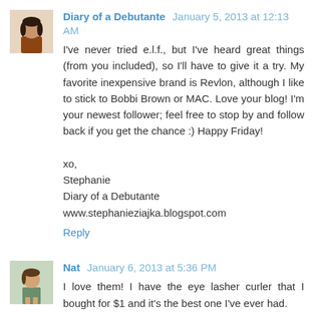Diary of a Debutante  January 5, 2013 at 12:13 AM
I've never tried e.l.f., but I've heard great things (from you included), so I'll have to give it a try. My favorite inexpensive brand is Revlon, although I like to stick to Bobbi Brown or MAC. Love your blog! I'm your newest follower; feel free to stop by and follow back if you get the chance :) Happy Friday!

xo,
Stephanie
Diary of a Debutante
www.stephanieziajka.blogspot.com
Reply
Nat  January 6, 2013 at 5:36 PM
I love them! I have the eye lasher curler that I bought for $1 and it's the best one I've ever had.
Reply